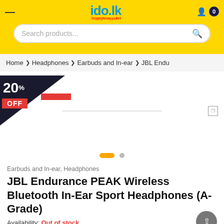ido.lk - Shopping the way you like it
Search products...
Home > Headphones > Earbuds and In-ear > JBL Endu
[Figure (infographic): 20% OFF discount badge on product image area with carousel dots]
Earbuds and In-ear, Headphones
JBL Endurance PEAK Wireless Bluetooth In-Ear Sport Headphones (A-Grade)
Availability: Out of stock